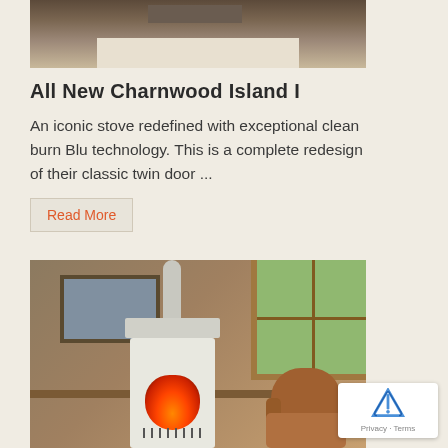[Figure (photo): Top portion of a photo showing a room interior with wooden floor and a rug, furniture legs visible at top, viewed from above]
All New Charnwood Island I
An iconic stove redefined with exceptional clean burn Blu technology. This is a complete redesign of their classic twin door ...
Read More
[Figure (photo): Interior room photo showing a white wood-burning stove (Charnwood Island I) with fire visible through oval glass window, stove pipe going up, set against grey panelled wall with wooden shelf. Framed landscape painting on left wall, vase of white flowers, wooden window with green foliage outside on right, brown leather armchair partially visible on right edge.]